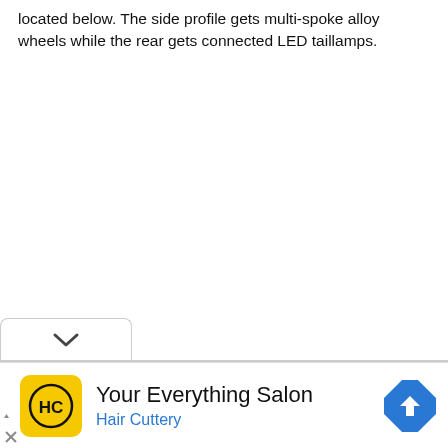located below. The side profile gets multi-spoke alloy wheels while the rear gets connected LED taillamps.
[Figure (screenshot): A dropdown/collapse UI element showing a downward chevron arrow on a white rounded tab with a gray border, sitting above a horizontal divider line.]
[Figure (infographic): Advertisement for Hair Cuttery salon. Shows yellow square logo with HC initials in a circle, text 'Your Everything Salon' in large black font, 'Hair Cuttery' in blue font, and a blue diamond-shaped navigation/map icon on the right. Small play and close ad icons bottom left.]